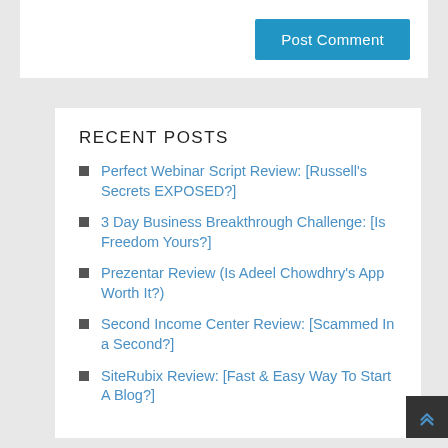Post Comment
RECENT POSTS
Perfect Webinar Script Review: [Russell's Secrets EXPOSED?]
3 Day Business Breakthrough Challenge: [Is Freedom Yours?]
Prezentar Review (Is Adeel Chowdhry's App Worth It?)
Second Income Center Review: [Scammed In a Second?]
SiteRubix Review: [Fast & Easy Way To Start A Blog?]